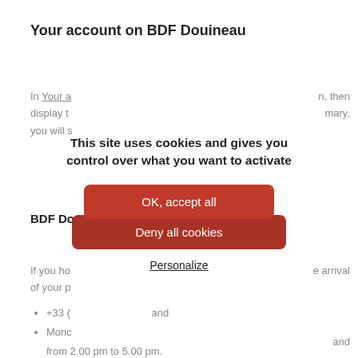Your account on BDF Douineau
In Your a… n, then
display t… mary,
you will s…
[Figure (screenshot): Cookie consent popup overlay with text 'This site uses cookies and gives you control over what you want to activate', buttons 'OK, accept all' and 'Deny all cookies', and a 'Personalize' link.]
BDF Dou…
If you ho… e arrival
of your p…
+33 (
Monc… and
from 2.00 pm to 5.00 pm.
bdf@bdf-douineau.com